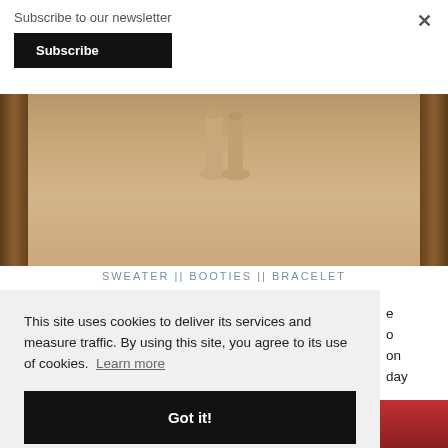Subscribe to our newsletter
Subscribe
×
[Figure (photo): Close-up photo of person's feet/legs showing beige/tan booties on a carpet, framed by decorative wooden mirror frame on left and right edges]
SWEATER || BOOTIES || BRACELET
This site uses cookies to deliver its services and measure traffic. By using this site, you agree to its use of cookies. Learn more
Got it!
[Figure (photo): Partial view of two photos at bottom of page — left shows warm tan/beige tones, right shows deep red tones]